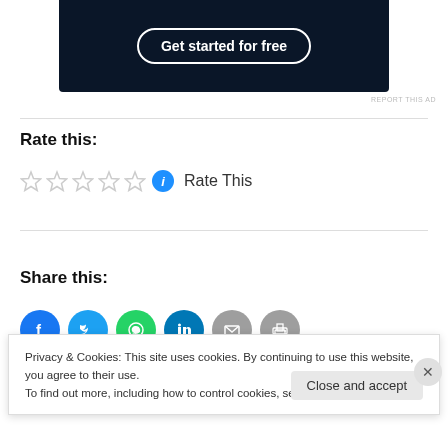[Figure (screenshot): Dark background ad banner with 'Get started for free' button in white rounded rectangle outline]
REPORT THIS AD
Rate this:
[Figure (other): Five empty star rating widgets followed by a blue info icon and 'Rate This' text]
Share this:
[Figure (other): Row of six circular social share buttons: Facebook, Twitter, WhatsApp, LinkedIn, Email, Print]
Privacy & Cookies: This site uses cookies. By continuing to use this website, you agree to their use.
To find out more, including how to control cookies, see here: Cookie Policy